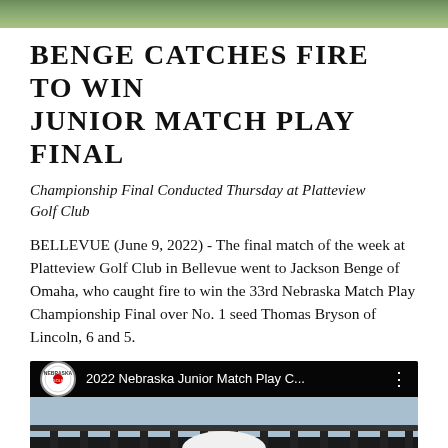[Figure (photo): Top cropped green/outdoor photo strip]
BENGE CATCHES FIRE TO WIN JUNIOR MATCH PLAY FINAL
Championship Final Conducted Thursday at Platteview Golf Club
BELLEVUE (June 9, 2022) - The final match of the week at Platteview Golf Club in Bellevue went to Jackson Benge of Omaha, who caught fire to win the 33rd Nebraska Match Play Championship Final over No. 1 seed Thomas Bryson of Lincoln, 6 and 5.
[Figure (screenshot): YouTube video thumbnail showing 2022 Nebraska Junior Match Play C... with a golfer wearing a Titleist hat and red shirt behind fence railing]